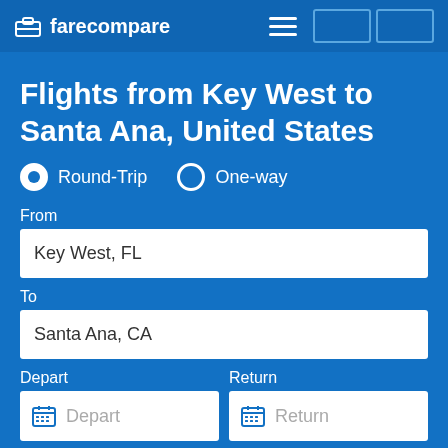farecompare
Flights from Key West to Santa Ana, United States
Round-Trip  One-way
From
Key West, FL
To
Santa Ana, CA
Depart  Return
1 traveler  Nonstop